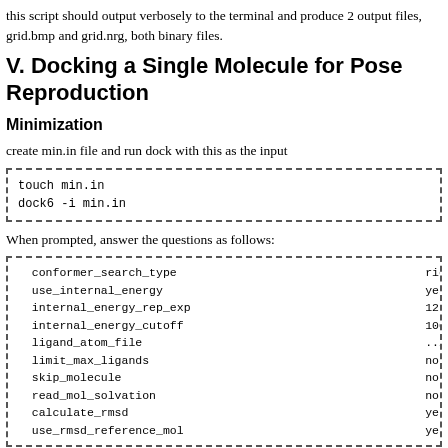this script should output verbosely to the terminal and produce 2 output files, grid.bmp and grid.nrg, both binary files.
V. Docking a Single Molecule for Pose Reproduction
Minimization
create min.in file and run dock with this as the input
touch min.in
dock6 -i min.in
When prompted, answer the questions as follows:
conformer_search_type                                          rigid
use_internal_energy                                            yes
internal_energy_rep_exp                                        12
internal_energy_cutoff                                         100.0
ligand_atom_file                                               ../01.d
limit_max_ligands                                              no
skip_molecule                                                  no
read_mol_solvation                                             no
calculate_rmsd                                                 yes
use_rmsd_reference_mol                                         yes